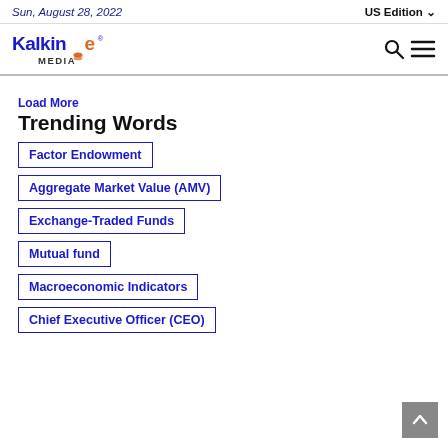Sun, August 28, 2022 | US Edition
[Figure (logo): Kalkine Media logo — blue 'Kalkine' text with orange E, orange media icon, 'MEDIA' in dark below]
Load More
Trending Words
Factor Endowment
Aggregate Market Value (AMV)
Exchange-Traded Funds
Mutual fund
Macroeconomic Indicators
Chief Executive Officer (CEO)